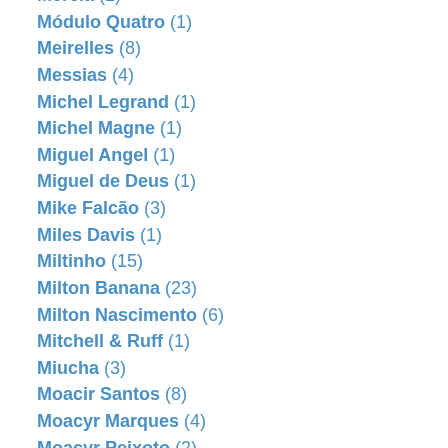Mércia (1)
Módulo Quatro (1)
Meirelles (8)
Messias (4)
Michel Legrand (1)
Michel Magne (1)
Miguel Angel (1)
Miguel de Deus (1)
Mike Falcão (3)
Miles Davis (1)
Miltinho (15)
Milton Banana (23)
Milton Nascimento (6)
Mitchell & Ruff (1)
Miucha (3)
Moacir Santos (8)
Moacyr Marques (4)
Moacyr Peixoto (2)
Moacyr Silva (29)
Momento Quatro (1)